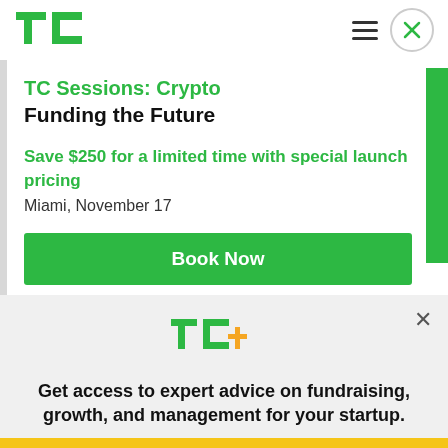[Figure (logo): TechCrunch TC green logo top left]
[Figure (logo): TC+ logo with orange plus sign]
TC Sessions: Crypto
Funding the Future
Save $250 for a limited time with special launch pricing
Miami, November 17
Book Now
Get access to expert advice on fundraising, growth, and management for your startup.
EXPLORE NOW